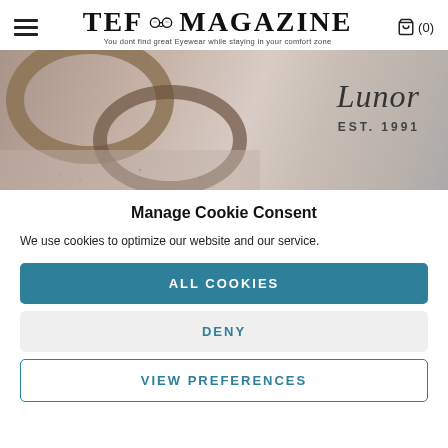TEF MAGAZINE — You dont find great Eyewear while staying in your comfort zone
[Figure (photo): Close-up photo of metal eyeglass frames/rings on a textured surface, with the Lunor brand logo and EST. 1991 text on the right side of the banner.]
Manage Cookie Consent
We use cookies to optimize our website and our service.
ALL COOKIES
DENY
VIEW PREFERENCES